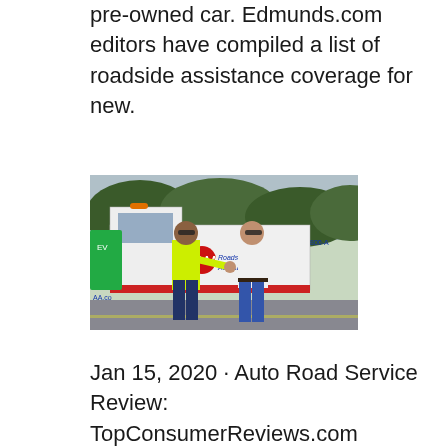pre-owned car. Edmunds.com editors have compiled a list of roadside assistance coverage for new.
[Figure (photo): A AAA Roadside Assistance truck parked on a road. A man in a neon yellow safety vest shakes hands with another man in a white polo shirt. The truck has AAA Roadside Assistance logo and text 'AA.com' and '800-A' visible. A green EV charging sign is visible on the left side.]
Jan 15, 2020 · Auto Road Service Review: TopConsumerReviews.com reviews the best Roadside Assistance